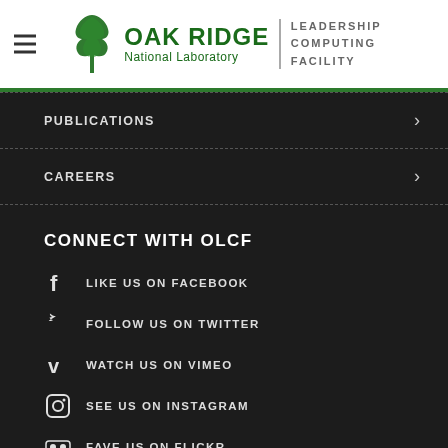[Figure (logo): Oak Ridge National Laboratory Leadership Computing Facility logo with leaf/tree icon, green text, and gray divider]
PUBLICATIONS
CAREERS
CONNECT WITH OLCF
LIKE US ON FACEBOOK
FOLLOW US ON TWITTER
WATCH US ON VIMEO
SEE US ON INSTAGRAM
FAVE US ON FLICKR